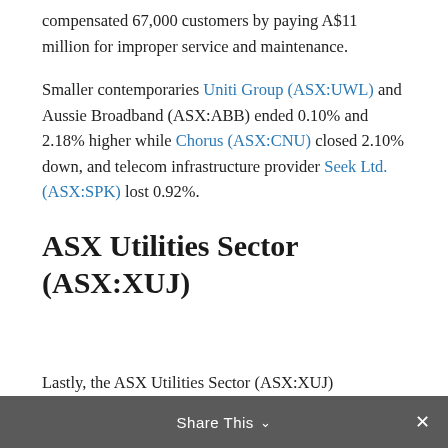compensated 67,000 customers by paying A$11 million for improper service and maintenance.
Smaller contemporaries Uniti Group (ASX:UWL) and Aussie Broadband (ASX:ABB) ended 0.10% and 2.18% higher while Chorus (ASX:CNU) closed 2.10% down, and telecom infrastructure provider Seek Ltd. (ASX:SPK) lost 0.92%.
ASX Utilities Sector (ASX:XUJ)
Lastly, the ASX Utilities Sector (ASX:XUJ)
Share This ∨  ×